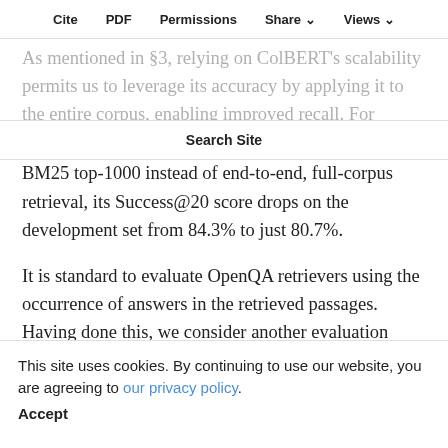Cite   PDF   Permissions   Share ∨   Views ∨
As mentioned in §3, relying on ColBERT's scalability permits us to leverage its accuracy by applying it to the entire corpus, enabling improved recall. For instance, if we use ColBERT-QA₃ for re-ranking BM25 top-1000 instead of end-to-end, full-corpus retrieval, its Success@20 score drops on the development set from 84.3% to just 80.7%.
Search Site
It is standard to evaluate OpenQA retrievers using the occurrence of answers in the retrieved passages. Having done this, we consider another evaluation paradigm: the development-set EM scores resulting from training a reader corresponding to each retriever. The EM scores in Table reinforce the value of RGS (i.e., ColBERT-QA₂ and ColBERT-QA, outperforming ColBERT-QA, by up to 0.7–2.4 EM points).
This site uses cookies. By continuing to use our website, you are agreeing to our privacy policy.
Accept